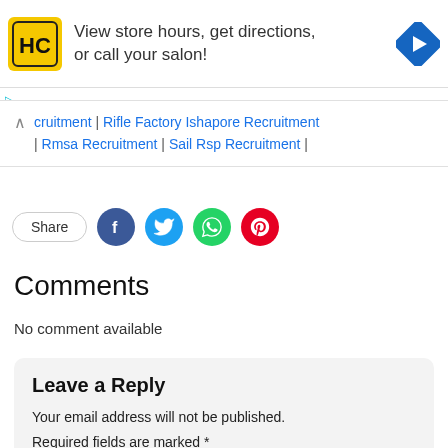[Figure (other): Advertisement banner: HC logo (yellow square with HC in black), text 'View store hours, get directions, or call your salon!', blue navigation diamond icon]
cruitment | Rifle Factory Ishapore Recruitment | Rmsa Recruitment | Sail Rsp Recruitment |
[Figure (other): Share button and social media icons: Facebook (dark blue), Twitter (light blue), WhatsApp (green), Pinterest (red)]
Comments
No comment available
Leave a Reply
Your email address will not be published.
Required fields are marked *